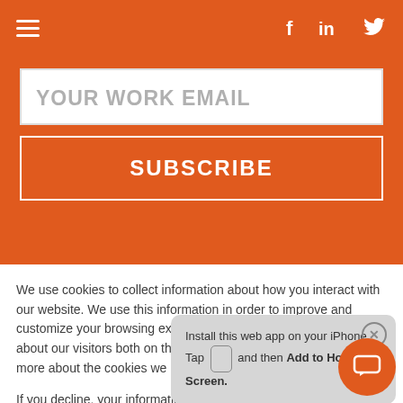Navigation bar with hamburger menu and social icons (Facebook, LinkedIn, Twitter)
YOUR WORK EMAIL
SUBSCRIBE
[Figure (logo): Partial logo visible at bottom of gray section - orange cat/animal icon and partial text 'TheWell']
We use cookies to collect information about how you interact with our website. We use this information in order to improve and customize your browsing experience and for analytics and metrics about our visitors both on this website and other media. To find out more about the cookies we use, see our Privacy Policy.
If you decline, your information won't be tracked
Install this web app on your iPhone. Tap and then Add to Home Screen.